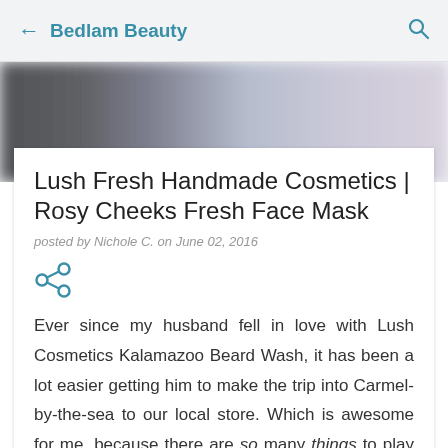← Bedlam Beauty 🔍
[Figure (photo): Blurred hero image with dark and light pastel tones, likely a cosmetics product photo]
Lush Fresh Handmade Cosmetics | Rosy Cheeks Fresh Face Mask
posted by Nichole C. on June 02, 2016
[Figure (infographic): Share icon (less-than sign style share button in teal)]
Ever since my husband fell in love with Lush Cosmetics Kalamazoo Beard Wash, it has been a lot easier getting him to make the trip into Carmel-by-the-sea to our local store. Which is awesome for me, because there are so many things to play with. Today, I'm trying one of their